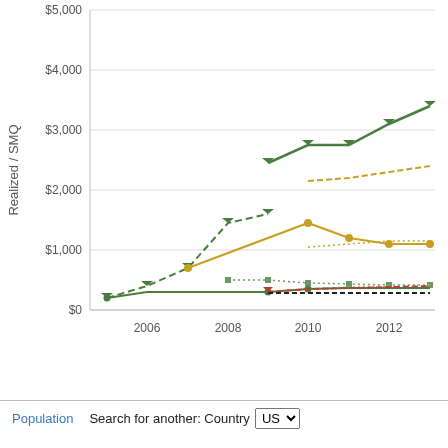[Figure (line-chart): ]
Population    Search for another: Country US